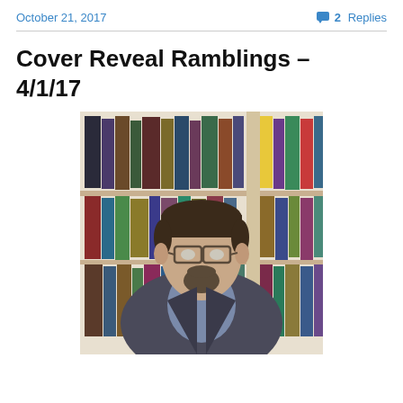October 21, 2017
2 Replies
Cover Reveal Ramblings – 4/1/17
[Figure (photo): A man with glasses and a goatee wearing a dark blazer and light blue shirt, seated in front of a bookshelf filled with books of various colors.]